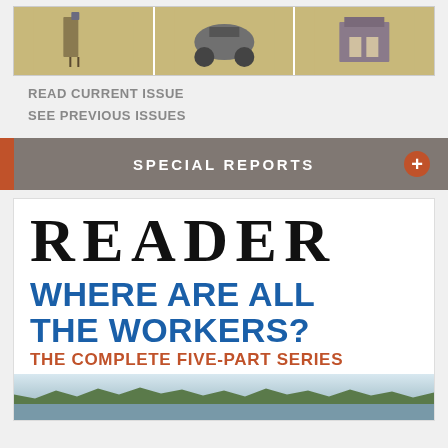[Figure (illustration): Strip of three illustrated panels with golden/wheat background showing figures and farm/rural scenes]
READ CURRENT ISSUE
SEE PREVIOUS ISSUES
SPECIAL REPORTS
[Figure (illustration): Reader magazine cover showing the words READER in large serif font, WHERE ARE ALL THE WORKERS? in blue bold type, THE COMPLETE FIVE-PART SERIES in red, with a landscape background at the bottom]